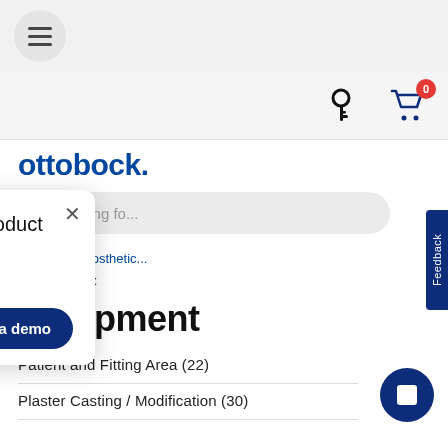[Figure (screenshot): Hamburger menu button (three horizontal lines in a circle) in top navigation bar]
[Figure (screenshot): Navigation bar with key icon and shopping cart icon with badge showing 0]
ottobock.
I'm looking fo...
Are you looking for a product demo or do you have a question? 🔲🔲
Schedule a demo
> Home > Prosthetic > Equipment
Equipment
Patient and Fitting Area (22)
Plaster Casting / Modification (30)